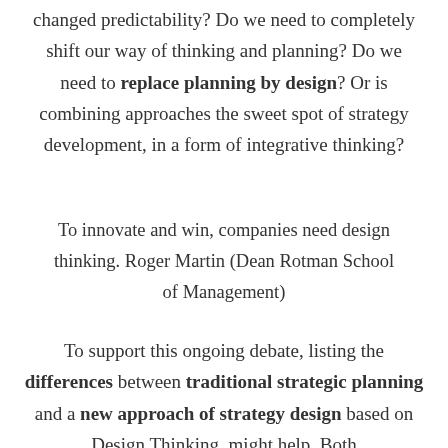changed predictability? Do we need to completely shift our way of thinking and planning? Do we need to replace planning by design? Or is combining approaches the sweet spot of strategy development, in a form of integrative thinking?
To innovate and win, companies need design thinking. Roger Martin (Dean Rotman School of Management)
To support this ongoing debate, listing the differences between traditional strategic planning and a new approach of strategy design based on Design Thinking, might help. Both